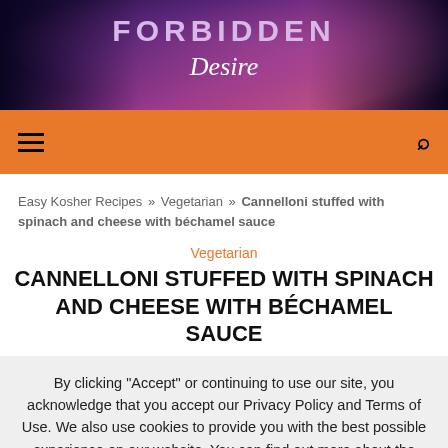[Figure (illustration): Book cover banner showing 'FORBIDDEN Desire' text over a purple/pink gradient background with figures]
Navigation bar with hamburger menu and search icon on orange background
Easy Kosher Recipes » Vegetarian » Cannelloni stuffed with spinach and cheese with béchamel sauce
Vegetarian
CANNELLONI STUFFED WITH SPINACH AND CHEESE WITH BÉCHAMEL SAUCE
By clicking "Accept" or continuing to use our site, you acknowledge that you accept our Privacy Policy and Terms of Use. We also use cookies to provide you with the best possible experience on our website. You can find out more about the cookies we use and learn how to manage them here. Feel free to check out our policies anytime for more information.